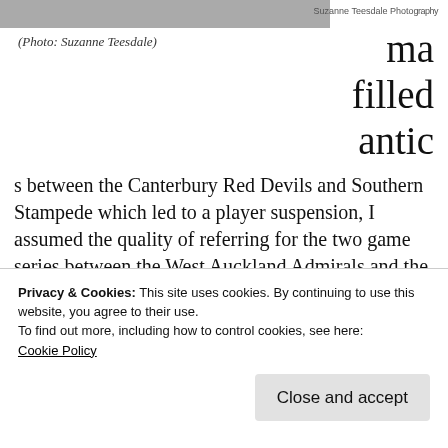[Figure (photo): Partial photo strip at the top with a watermark reading 'Suzanne Teesdale Photography']
(Photo: Suzanne Teesdale)
ma filled antic
s between the Canterbury Red Devils and Southern Stampede which led to a player suspension, I assumed the quality of referring for the two game series between the West Auckland Admirals and the Red Devils would be tight to maintain order and keep control. With the beauty of technology, I was able to catch
Privacy & Cookies: This site uses cookies. By continuing to use this website, you agree to their use.
To find out more, including how to control cookies, see here:
Cookie Policy
Close and accept